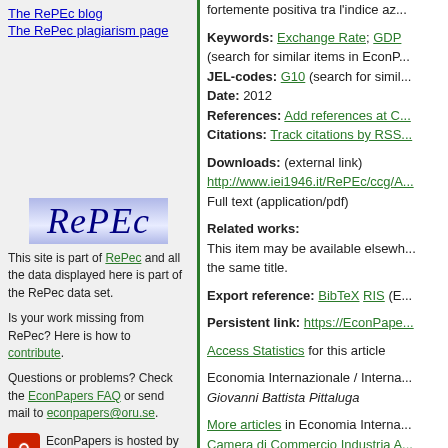The RePEc blog
The RePec plagiarism page
[Figure (logo): RePec logo with blue italic text on blue gradient background]
This site is part of RePec and all the data displayed here is part of the RePec data set.
Is your work missing from RePec? Here is how to contribute.
Questions or problems? Check the EconPapers FAQ or send mail to econpapers@oru.se.
EconPapers is hosted by the Örebro University School of Business.
fortemente positiva tra l'indice az...
Keywords: Exchange Rate; GDP (search for similar items in EconP... JEL-codes: G10 (search for simil... Date: 2012 References: Add references at C... Citations: Track citations by RSS...
Downloads: (external link) http://www.iei1946.it/RePEc/ccg/A Full text (application/pdf)
Related works: This item may be available elsewh... the same title.
Export reference: BibTeX RIS (E...
Persistent link: https://EconPape...
Access Statistics for this article
Economia Internazionale / Interna... Giovanni Battista Pittaluga
More articles in Economia Interna... Camera di Commercio Industria A... 4, 16124 Genova, Italy. Contact informatio... Bibliographic data for series maintained b...